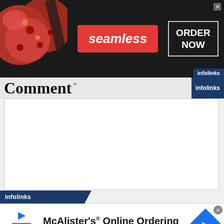[Figure (screenshot): Seamless food delivery advertisement banner with pizza image on left, red 'seamless' button in center, and 'ORDER NOW' button with white border on right, on dark background]
Comment
[Figure (screenshot): Empty white comment text area input box]
[Figure (screenshot): McAlister's Online Ordering advertisement with MCA logo, play button, blue arrow icon, and McAlister's Deli subtext]